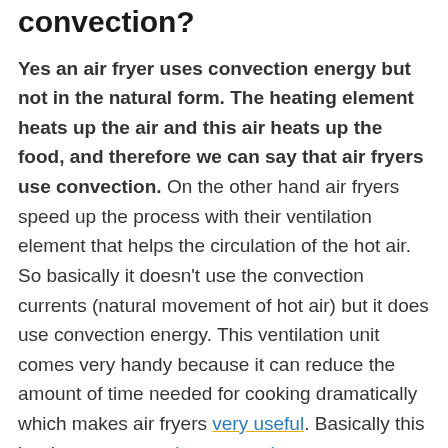convection?
Yes an air fryer uses convection energy but not in the natural form. The heating element heats up the air and this air heats up the food, and therefore we can say that air fryers use convection. On the other hand air fryers speed up the process with their ventilation element that helps the circulation of the hot air. So basically it doesn't use the convection currents (natural movement of hot air) but it does use convection energy. This ventilation unit comes very handy because it can reduce the amount of time needed for cooking dramatically which makes air fryers very useful. Basically this is why you can preheat your air